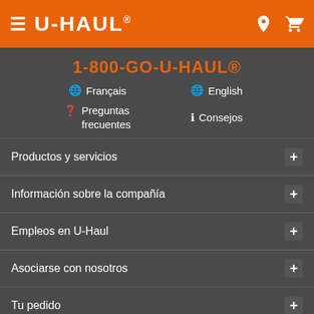U-HAUL navigation header with hamburger menu, logo, location and cart icons
1-800-GO-U-HAUL®
🌐 Français
🌐 English
❓ Preguntas frecuentes
ℹ️ Consejos
Productos y servicios +
Información sobre la compañía +
Empleos en U-Haul +
Asociarse con nosotros +
Tu pedido +
[Figure (screenshot): Social media icons row: Facebook, Instagram, Pinterest, WordPress, Twitter, YouTube]
Web Team Associates, Inc. es propietaria y administradora de este sitio web.
Volver arriba